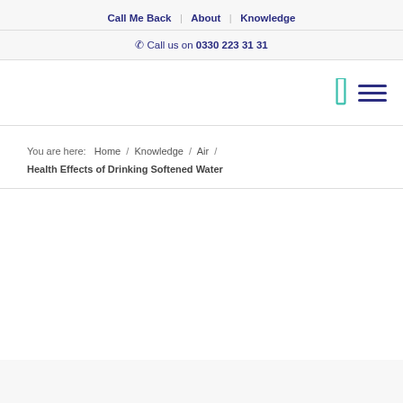Call Me Back | About | Knowledge
☎ Call us on 0330 223 31 31
[Figure (other): Navigation bar with teal bookmark icon and dark blue hamburger menu icon on the right side]
You are here:  Home  /  Knowledge  /  Air  /  Health Effects of Drinking Softened Water